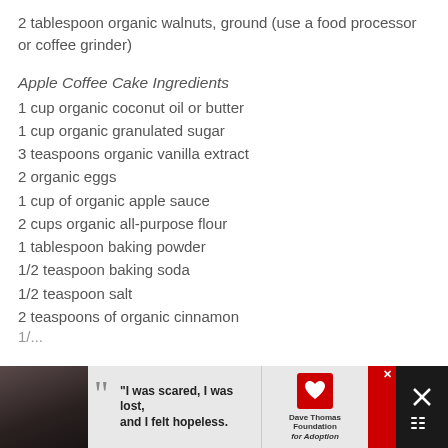2 tablespoon organic walnuts, ground (use a food processor or coffee grinder)
Apple Coffee Cake Ingredients
1 cup organic coconut oil or butter
1 cup organic granulated sugar
3 teaspoons organic vanilla extract
2 organic eggs
1 cup of organic apple sauce
2 cups organic all-purpose flour
1 tablespoon baking powder
1/2 teaspoon baking soda
1/2 teaspoon salt
2 teaspoons of organic cinnamon
[Figure (other): Advertisement banner at bottom of page featuring a woman's photo, quote 'I was scared, I was lost, and I felt hopeless.', Dave Thomas Foundation for Adoption logo, and close/dismiss buttons.]